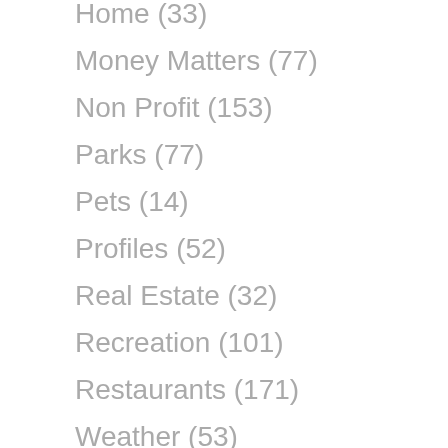Home (33)
Money Matters (77)
Non Profit (153)
Parks (77)
Pets (14)
Profiles (52)
Real Estate (32)
Recreation (101)
Restaurants (171)
Weather (53)
Directories (8)
Featured (5,574)
Guides (101)
Morrisville (45)
News (1,988)
Elections (156)
Government (860)